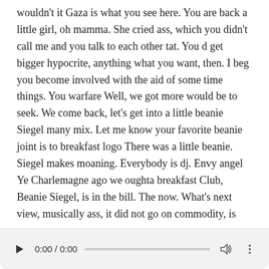wouldn't it Gaza is what you see here. You are back a little girl, oh mamma. She cried ass, which you didn't call me and you talk to each other tat. You d get bigger hypocrite, anything what you want, then. I beg you become involved with the aid of some time things. You warfare Well, we got more would be to seek. We come back, let's get into a little beanie Siegel many mix. Let me know your favorite beanie joint is to breakfast logo There was a little beanie. Siegel makes moaning. Everybody is dj. Envy angel Ye Charlemagne ago we oughta breakfast Club, Beanie Siegel, is in the bill. The now. What's next view, musically ass, it did not go on commodity, is inadequate and that in and next what I tell you it's good, because
we have heard Beanie Sigel. while in latin these kids. don't